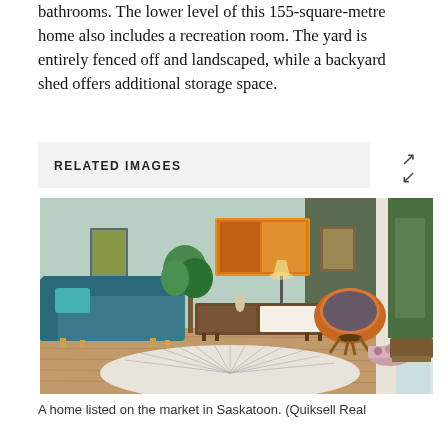bathrooms. The lower level of this 155-square-metre home also includes a recreation room. The yard is entirely fenced off and landscaped, while a backyard shed offers additional storage space.
RELATED IMAGES
[Figure (photo): Interior photo of a mid-century modern living room with a teal sofa, orange papasan chair, wooden credenza, lamp, framed artwork, indoor plant, geometric area rug, and a large window with white curtains and green foliage outside.]
A home listed on the market in Saskatoon. (Quiksell Real